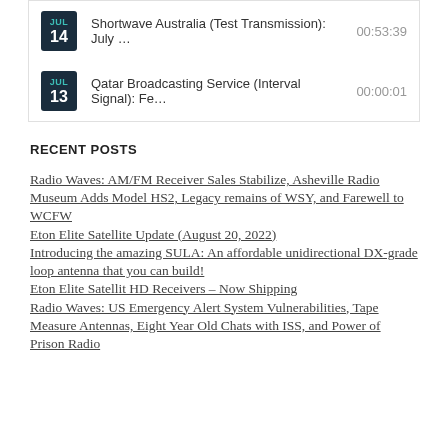JUL 14 — Shortwave Australia (Test Transmission): July … 00:53:39
JUL 13 — Qatar Broadcasting Service (Interval Signal): Fe… 00:00:01
RECENT POSTS
Radio Waves: AM/FM Receiver Sales Stabilize, Asheville Radio Museum Adds Model HS2, Legacy remains of WSY, and Farewell to WCFW
Eton Elite Satellite Update (August 20, 2022)
Introducing the amazing SULA: An affordable unidirectional DX-grade loop antenna that you can build!
Eton Elite Satellit HD Receivers – Now Shipping
Radio Waves: US Emergency Alert System Vulnerabilities, Tape Measure Antennas, Eight Year Old Chats with ISS, and Power of Prison Radio